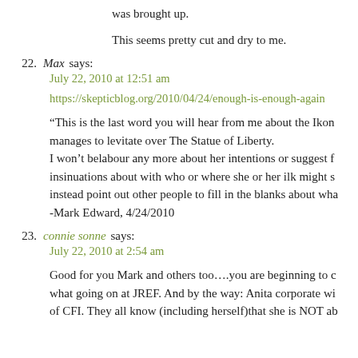was brought up.
This seems pretty cut and dry to me.
22. Max says:
July 22, 2010 at 12:51 am
https://skepticblog.org/2010/04/24/enough-is-enough-again
“This is the last word you will hear from me about the Ikon manages to levitate over The Statue of Liberty. I won’t belabour any more about her intentions or suggest f insinuations about with who or where she or her ilk might s instead point out other people to fill in the blanks about wha -Mark Edward, 4/24/2010
23. connie sonne says:
July 22, 2010 at 2:54 am
Good for you Mark and others too....you are beginning to c what going on at JREF. And by the way: Anita corporate wi of CFI. They all know (including herself)that she is NOT ab